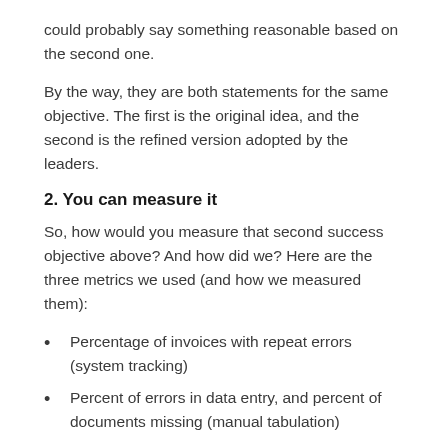could probably say something reasonable based on the second one.
By the way, they are both statements for the same objective. The first is the original idea, and the second is the refined version adopted by the leaders.
2. You can measure it
So, how would you measure that second success objective above? And how did we? Here are the three metrics we used (and how we measured them):
Percentage of invoices with repeat errors (system tracking)
Percent of errors in data entry, and percent of documents missing (manual tabulation)
Percent of people who perceive that invoice accuracy is improving (survey)